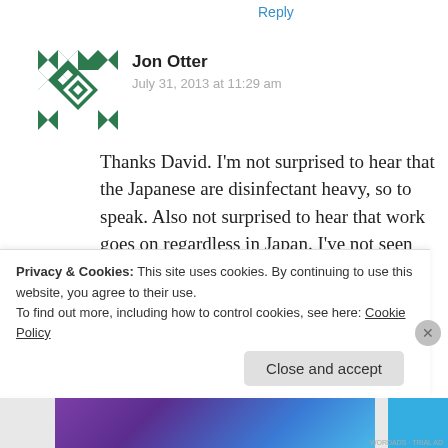Reply
[Figure (illustration): Green geometric snowflake/quilt pattern avatar icon]
Jon Otter
July 31, 2013 at 11:29 am
Thanks David. I'm not surprised to hear that the Japanese are disinfectant heavy, so to speak. Also not surprised to hear that work goes on regardless in Japan. I've not seen any disinfectants (other than alcohol hand gel dispensers) in baby change rooms
Privacy & Cookies: This site uses cookies. By continuing to use this website, you agree to their use.
To find out more, including how to control cookies, see here: Cookie Policy
Close and accept